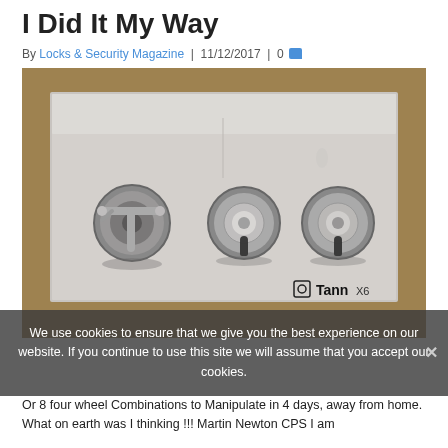I Did It My Way
By Locks & Security Magazine | 11/12/2017 | 0
[Figure (photo): Close-up photo of a Tann X6 safe door showing three lock mechanisms: one T-bar handle on the left and two circular dial locks in the center and right, all mounted on a brushed metal plate. The Tann X6 logo is visible in the lower right corner.]
We use cookies to ensure that we give you the best experience on our website. If you continue to use this site we will assume that you accept our cookies.
Or 8 four wheel Combinations to Manipulate in 4 days, away from home. What on earth was I thinking !!! Martin Newton CPS I am